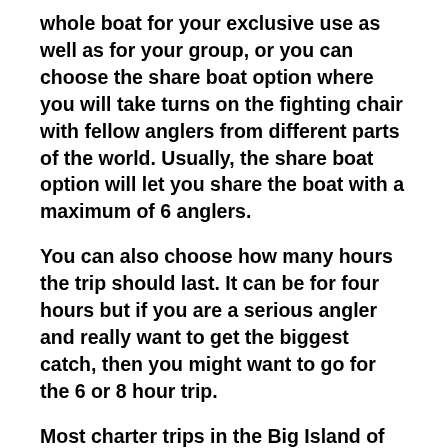whole boat for your exclusive use as well as for your group, or you can choose the share boat option where you will take turns on the fighting chair with fellow anglers from different parts of the world. Usually, the share boat option will let you share the boat with a maximum of 6 anglers.
You can also choose how many hours the trip should last. It can be for four hours but if you are a serious angler and really want to get the biggest catch, then you might want to go for the 6 or 8 hour trip.
Most charter trips in the Big Island of Hawaii will leave early in the morning or in the afternoon. It is your choice on when you want to go fishing.
Also, you have the choice in the tag and release option. Try to discuss this with the captain at the beginning of your trip before reaching the major